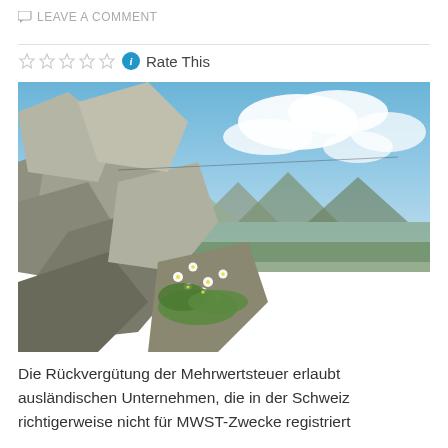LEAVE A COMMENT
[Figure (photo): Alpine landscape photo showing white flowers growing among large flat rocks in the foreground, with a mountain valley and blue sky with white clouds in the background.]
Die Rückvergütung der Mehrwertsteuer erlaubt ausländischen Unternehmen, die in der Schweiz richtigerweise nicht für MWST-Zwecke registriert